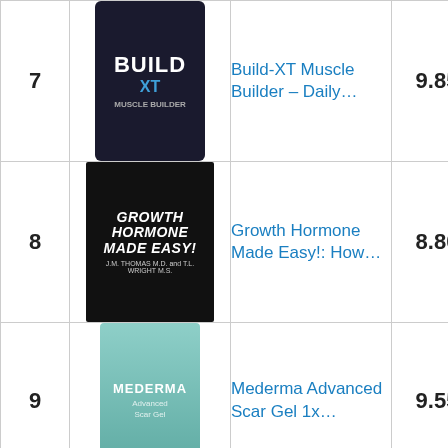| # | Image | Product | Score | Buy |
| --- | --- | --- | --- | --- |
| 7 | [Build-XT image] | Build-XT Muscle Builder – Daily… | 9.85 | Buy on Am… |
| 8 | [Growth Hormone image] | Growth Hormone Made Easy!: How… | 8.80 | Buy on Am… |
| 9 | [Mederma image] | Mederma Advanced Scar Gel 1x… | 9.55 | Buy on Am… |